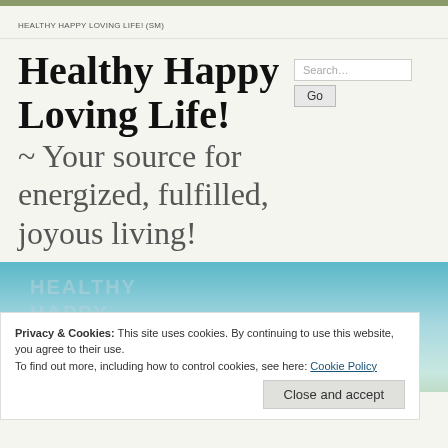HEALTHY HAPPY LOVING LIFE! (SM)
Healthy Happy Loving Life! ~ Your source for energized, fulfilled, joyous living!
[Figure (screenshot): Website banner image showing sky and horizon with watermark text HEALTHY HAPPY LOVING LIFE overlaid]
Privacy & Cookies: This site uses cookies. By continuing to use this website, you agree to their use.
To find out more, including how to control cookies, see here: Cookie Policy
Close and accept
30  Healthy Happy